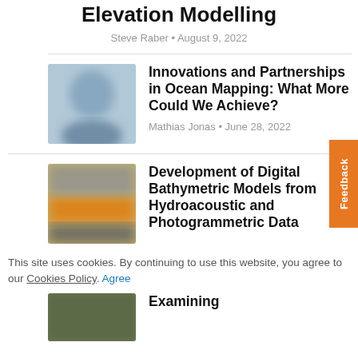Elevation Modelling
Steve Raber • August 9, 2022
[Figure (photo): Blurred thumbnail image for Innovations and Partnerships in Ocean Mapping article]
Innovations and Partnerships in Ocean Mapping: What More Could We Achieve?
Mathias Jonas • June 28, 2022
[Figure (photo): Blurred thumbnail image with orange/yellow tones for Development of Digital Bathymetric Models article]
Development of Digital Bathymetric Models from Hydroacoustic and Photogrammetric Data
This site uses cookies. By continuing to use this website, you agree to our Cookies Policy. Agree
[Figure (photo): Partially visible blurred thumbnail for Examining article]
Examining